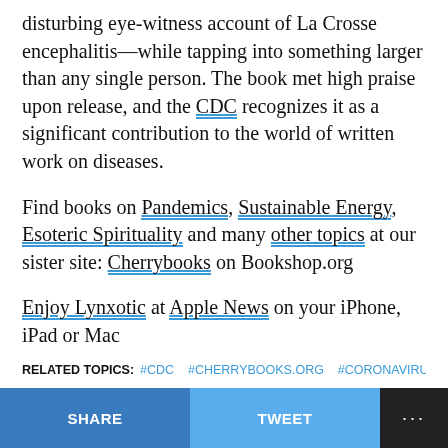disturbing eye-witness account of La Crosse encephalitis—while tapping into something larger than any single person. The book met high praise upon release, and the CDC recognizes it as a significant contribution to the world of written work on diseases.
Find books on Pandemics, Sustainable Energy, Esoteric Spirituality and many other topics at our sister site: Cherrybooks on Bookshop.org
Enjoy Lynxotic at Apple News on your iPhone, iPad or Mac
Lynxotic may receive a small commission based on any purchases made by following links from this page.
RELATED TOPICS: #CDC   #CHERRYBOOKS.ORG   #CORONAVIRUS
SHARE   TWEET   ...